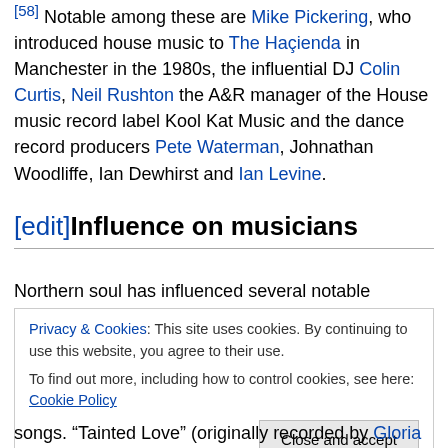[58] Notable among these are Mike Pickering, who introduced house music to The Haçienda in Manchester in the 1980s, the influential DJ Colin Curtis, Neil Rushton the A&R manager of the House music record label Kool Kat Music and the dance record producers Pete Waterman, Johnathan Woodliffe, Ian Dewhirst and Ian Levine.
[edit]Influence on musicians
Northern soul has influenced several notable musicians.
Privacy & Cookies: This site uses cookies. By continuing to use this website, you agree to their use. To find out more, including how to control cookies, see here: Cookie Policy
songs. "Tainted Love" (originally recorded by Gloria Jones)